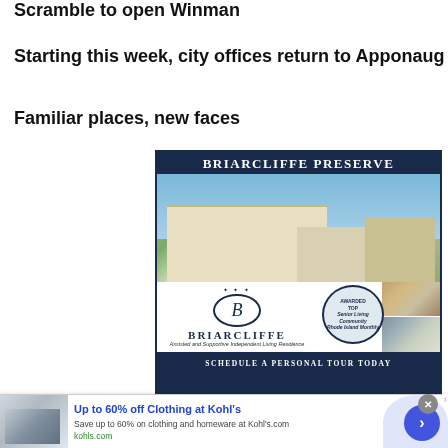Scramble to open Winman
Starting this week, city offices return to Apponaug
Familiar places, new faces
[Figure (photo): Advertisement for Briarcliffe Preserve Assisted and Supportive Independent Living Residence. Shows building exterior photo, logo with laurel wreath, award badge for Top Senior Living Community Rhode Island Monthly, and interior photos. Tagline: Assisted and Supportive Independent Living Residence. Footer: SCHEDULE A PERSONAL TOUR TODAY]
[Figure (photo): Banner advertisement: Up to 60% off Clothing at Kohl's. Save up to 60% on clothing and homeware at Kohls.com. kohls.com]